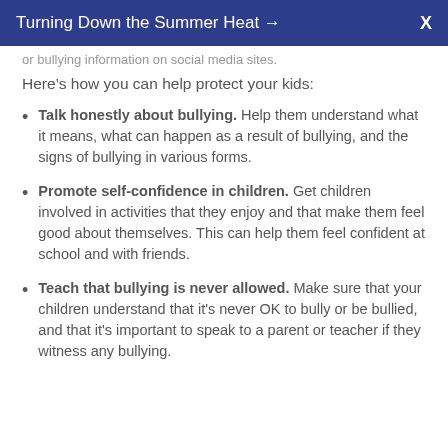Turning Down the Summer Heat →  X
or bullying information on social media sites.
Here's how you can help protect your kids:
Talk honestly about bullying. Help them understand what it means, what can happen as a result of bullying, and the signs of bullying in various forms.
Promote self-confidence in children. Get children involved in activities that they enjoy and that make them feel good about themselves. This can help them feel confident at school and with friends.
Teach that bullying is never allowed. Make sure that your children understand that it's never OK to bully or be bullied, and that it's important to speak to a parent or teacher if they witness any bullying.